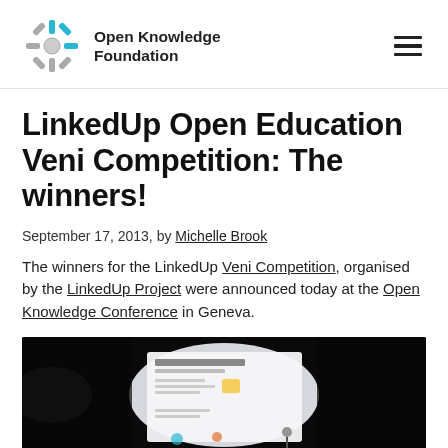Open Knowledge Foundation
LinkedUp Open Education Veni Competition: The winners!
September 17, 2013, by Michelle Brook
The winners for the LinkedUp Veni Competition, organised by the LinkedUp Project were announced today at the Open Knowledge Conference in Geneva.
[Figure (photo): A photograph of a presentation slide projected in a darkened room showing the LinkedUp Veni Competition details with a bright projector light visible.]